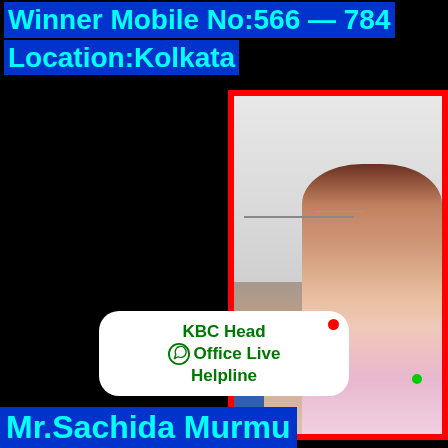Winner Mobile No:566 — 784
Location:Kolkata
[Figure (photo): Photo of a person inside a red-bordered frame, sitting in a room with white walls, wearing a pink garment.]
KBC Head Office Live Helpline
Mr.Sachida Murmu